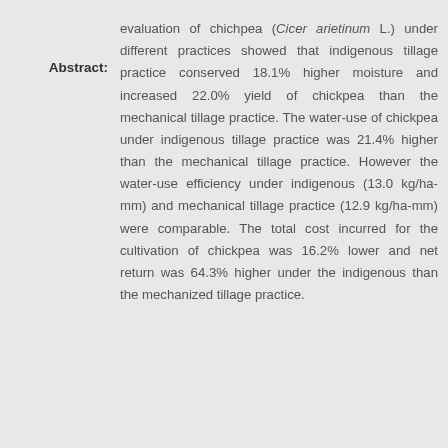Abstract: evaluation of chichpea (Cicer arietinum L.) under different practices showed that indigenous tillage practice conserved 18.1% higher moisture and increased 22.0% yield of chickpea than the mechanical tillage practice. The water-use of chickpea under indigenous tillage practice was 21.4% higher than the mechanical tillage practice. However the water-use efficiency under indigenous (13.0 kg/ha-mm) and mechanical tillage practice (12.9 kg/ha-mm) were comparable. The total cost incurred for the cultivation of chickpea was 16.2% lower and net return was 64.3% higher under the indigenous than the mechanized tillage practice.